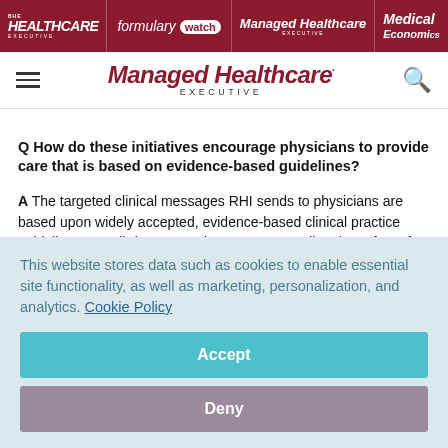HEALTHCARE EXECUTIVE | formulary watch | Managed Healthcare EXECUTIVE | Medical Economics
Managed Healthcare EXECUTIVE
Q How do these initiatives encourage physicians to provide care that is based on evidence-based guidelines?
A The targeted clinical messages RHI sends to physicians are based upon widely accepted, evidence-based clinical practice guidelines or well-documented concerns regarding the safety of particular drugs in particular situations. Messages are
This website stores data such as cookies to enable essential site functionality, as well as marketing, personalization, and analytics. Cookie Policy
Accept
Deny